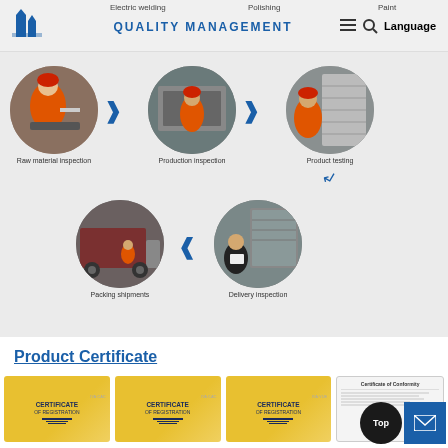Electric welding  Polishing  Paint  QUALITY MANAGEMENT  Language
[Figure (infographic): Quality management process flowchart with 5 circular photo stations: Raw material inspection, Production inspection, Product testing, Delivery inspection, Packing shipments, connected by arrows in a sequence loop.]
Product Certificate
[Figure (photo): Four certificate thumbnails: three yellow Certificate of Registration cards and one white Certificate of Conformity document.]